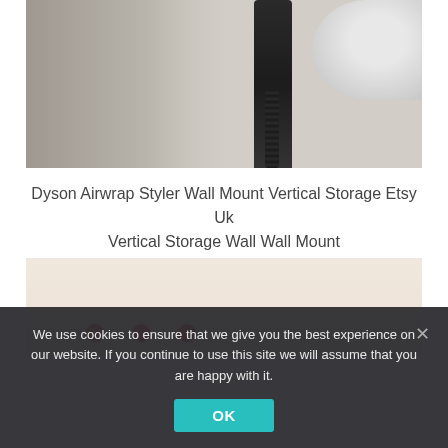[Figure (photo): A Dyson Airwrap hair dryer mounted vertically on a wall bracket in a bathroom setting, with a sink visible on the right side. The device has a black cord hanging below it.]
Dyson Airwrap Styler Wall Mount Vertical Storage Etsy Uk Vertical Storage Wall Wall Mount
[Figure (photo): Partial view of a product photo with beige/cream background and red circular objects (screw heads or knobs) visible at the bottom.]
We use cookies to ensure that we give you the best experience on our website. If you continue to use this site we will assume that you are happy with it.
OK